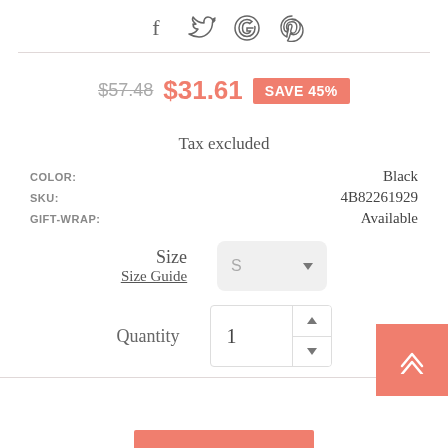[Figure (other): Social sharing icons: Facebook, Twitter, Google, Pinterest]
$57.48  $31.61  SAVE 45%
Tax excluded
COLOR: Black
SKU: 4B82261929
GIFT-WRAP: Available
Size  Size Guide  S (dropdown)
Quantity  1